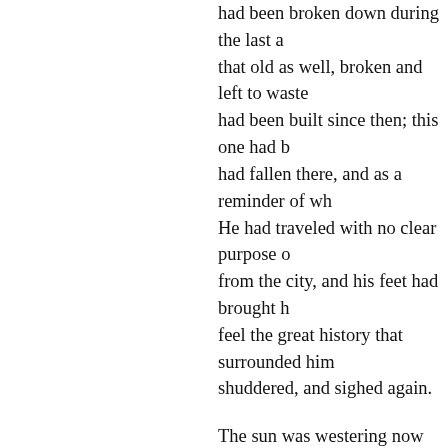had been broken down during the last a... that old as well, broken and left to waste... had been built since then; this one had b... had fallen there, and as a reminder of wh... He had traveled with no clear purpose o... from the city, and his feet had brought h... feel the great history that surrounded him... shuddered, and sighed again.
The sun was westering now and its level... pillars, changing the gray of the stones a... orange. Presently, the beams moved and... reached down and picked it up. "Well, o... to the end of our days." His voice was cl... youth and talent. "What shall we do now... suppose? We are not much more than th... have a last lay." His hands moved with t... a sweet melody soon filled the place. So... but pure in its sound; it mingled with the... ever beside him. He closed his eyes and... tune; and it seemed to him that the bridg... towers stood anew, basking in the glory... that crawled over stone and between eve... ground, and flowers and plants once aga... mists and fog were gently blown away b... the West. He smiled and continued to p...